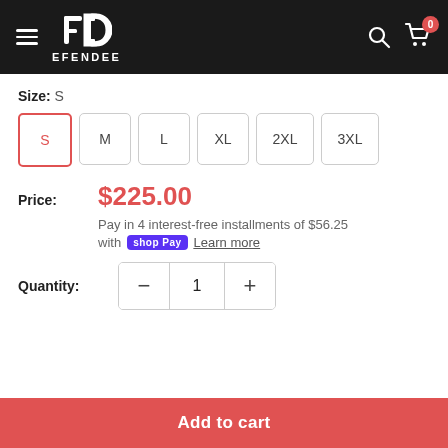EFENDEE
Size: S
S  M  L  XL  2XL  3XL
Price: $225.00
Pay in 4 interest-free installments of $56.25 with Shop Pay Learn more
Quantity: 1
Add to cart